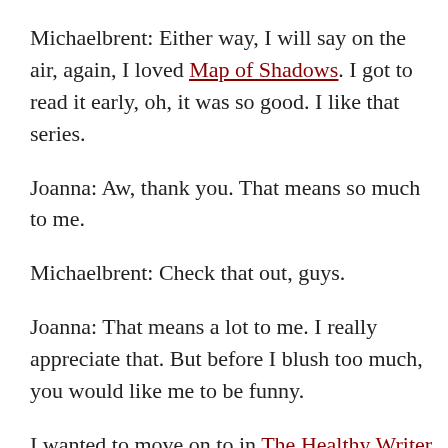Michaelbrent: Either way, I will say on the air, again, I loved Map of Shadows. I got to read it early, oh, it was so good. I like that series.
Joanna: Aw, thank you. That means so much to me.
Michaelbrent: Check that out, guys.
Joanna: That means a lot to me. I really appreciate that. But before I blush too much, you would like me to be funny.
I wanted to move on to in The Healthy Writer, which my friend Dan Holloway wrote a chapter, and he is bipolar and he talked about writing